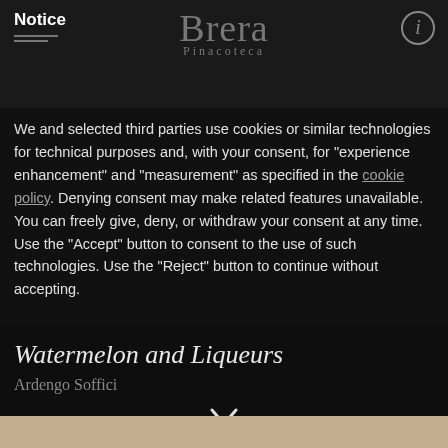Notice | Brera Pinacoteca
We and selected third parties use cookies or similar technologies for technical purposes and, with your consent, for “experience enhancement” and “measurement” as specified in the cookie policy. Denying consent may make related features unavailable. You can freely give, deny, or withdraw your consent at any time. Use the “Accept” button to consent to the use of such technologies. Use the “Reject” button to continue without accepting.
Reject
Accept
Learn more and customize
Watermelon and Liqueurs
Ardengo Soffici